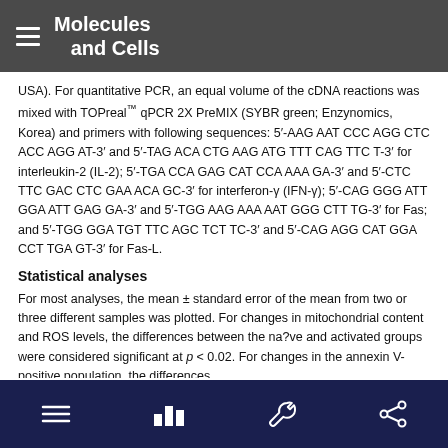Molecules and Cells
USA). For quantitative PCR, an equal volume of the cDNA reactions was mixed with TOPreal™ qPCR 2X PreMIX (SYBR green; Enzynomics, Korea) and primers with following sequences: 5′-AAG AAT CCC AGG CTC ACC AGG AT-3′ and 5′-TAG ACA CTG AAG ATG TTT CAG TTC T-3′ for interleukin-2 (IL-2); 5′-TGA CCA GAG CAT CCA AAA GA-3′ and 5′-CTC TTC GAC CTC GAA ACA GC-3′ for interferon-γ (IFN-γ); 5′-CAG GGG ATT GGA ATT GAG GA-3′ and 5′-TGG AAG AAA AAT GGG CTT TG-3′ for Fas; and 5′-TGG GGA TGT TTC AGC TCT TC-3′ and 5′-CAG AGG CAT GGA CCT TGA GT-3′ for Fas-L.
Statistical analyses
For most analyses, the mean ± standard error of the mean from two or three different samples was plotted. For changes in mitochondrial content and ROS levels, the differences between the na?ve and activated groups were considered significant at p < 0.02. For changes in the annexin V-positive population, the differences
navigation icons